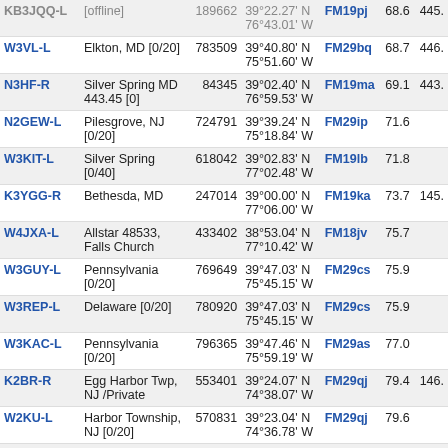| Callsign | Location | Node | Coordinates | Grid | Dist |  |
| --- | --- | --- | --- | --- | --- | --- |
| KB3JQQ-L | [offline] | 189662 | 39°22.27' N 76°43.01' W | FM19pj | 68.6 | 445. |
| W3VL-L | Elkton, MD [0/20] | 783509 | 39°40.80' N 75°51.60' W | FM29bq | 68.7 | 446. |
| N3HF-R | Silver Spring MD 443.45 [0] | 84345 | 39°02.40' N 76°59.53' W | FM19ma | 69.1 | 443. |
| N2GEW-L | Pilesgrove, NJ [0/20] | 724791 | 39°39.24' N 75°18.84' W | FM29ip | 71.6 |  |
| W3KIT-L | Silver Spring [0/40] | 618042 | 39°02.83' N 77°02.48' W | FM19lb | 71.8 |  |
| K3YGG-R | Bethesda, MD | 247014 | 39°00.00' N 77°06.00' W | FM19ka | 73.7 | 145. |
| W4JXA-L | Allstar 48533, Falls Church | 433402 | 38°53.04' N 77°10.42' W | FM18jv | 75.7 |  |
| W3GUY-L | Pennsylvania [0/20] | 769649 | 39°47.03' N 75°45.15' W | FM29cs | 75.9 |  |
| W3REP-L | Delaware [0/20] | 780920 | 39°47.03' N 75°45.15' W | FM29cs | 75.9 |  |
| W3KAC-L | Pennsylvania [0/20] | 796365 | 39°47.46' N 75°59.19' W | FM29as | 77.0 |  |
| K2BR-R | Egg Harbor Twp, NJ /Private | 553401 | 39°24.07' N 74°38.07' W | FM29qj | 79.4 | 146. |
| W2KU-L | Harbor Township, NJ [0/20] | 570831 | 39°23.04' N 74°36.78' W | FM29qj | 79.6 |  |
| KK2L-L | Williamstown, NJ [0/20] | 680012 | 39°41.16' N 74°59.58' W | FM29mq | 81.3 |  |
| W7IY-L | Lake Ridge, VA | 615284 | 38°40.53' N | FM18iq | 82.1 | 147. |